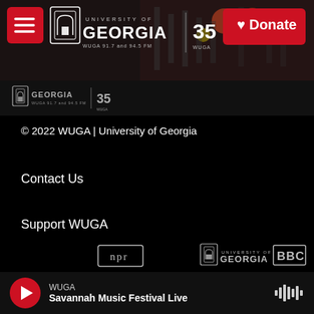[Figure (screenshot): WUGA University of Georgia radio website header with navigation, logo, 35th anniversary badge, and red Donate button over a dark background with audio equipment]
[Figure (logo): WUGA University of Georgia and 35 WUGA logo strip on dark background]
© 2022 WUGA | University of Georgia
Contact Us
Support WUGA
Privacy
[Figure (logo): NPR, University of Georgia, and BBC partner logos in a row]
WUGA
Savannah Music Festival Live